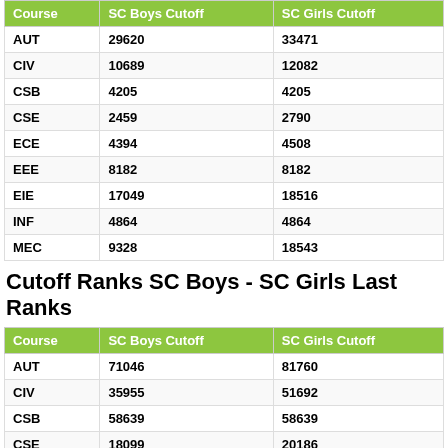| Course | SC Boys Cutoff | SC Girls Cutoff |
| --- | --- | --- |
| AUT | 29620 | 33471 |
| CIV | 10689 | 12082 |
| CSB | 4205 | 4205 |
| CSE | 2459 | 2790 |
| ECE | 4394 | 4508 |
| EEE | 8182 | 8182 |
| EIE | 17049 | 18516 |
| INF | 4864 | 4864 |
| MEC | 9328 | 18543 |
Cutoff Ranks SC Boys - SC Girls Last Ranks
| Course | SC Boys Cutoff | SC Girls Cutoff |
| --- | --- | --- |
| AUT | 71046 | 81760 |
| CIV | 35955 | 51692 |
| CSB | 58639 | 58639 |
| CSE | 18099 | 20186 |
| ECE | 30950 | 30950 |
| EEE | 36169 | 54172 |
| EIE | 97916 | 97916 |
| INF | 37053 | 43280 |
| MEC | 49310 | 60126 |